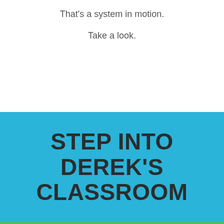That's a system in motion.
Take a look.
STEP INTO DEREK'S CLASSROOM